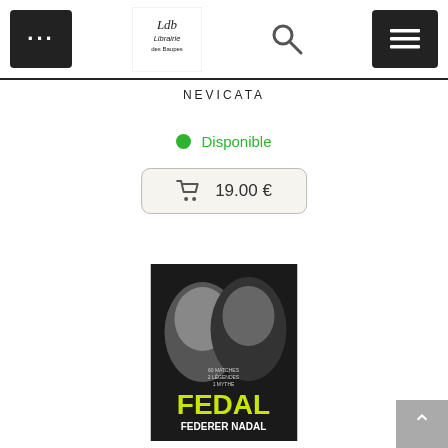Librairie des Baupes navigation bar with logo, search, and menu
NEVICATA
● Disponible
🛒 19.00 €
[Figure (photo): Book cover for FEDAL - FEDERER NADAL, showing black and white portraits of two tennis players with yellow title text at the bottom. Text on cover: '60 MATCHES 2 LÉGENDES 1 MYTHE']